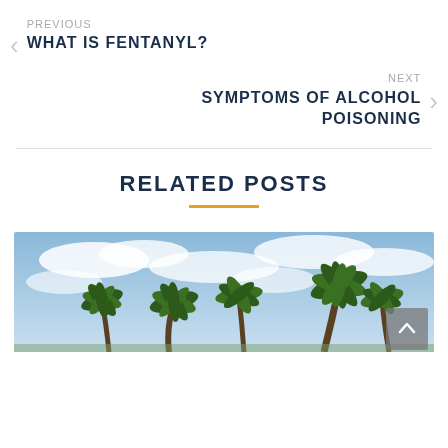PREVIOUS
WHAT IS FENTANYL?
NEXT
SYMPTOMS OF ALCOHOL POISONING
RELATED POSTS
[Figure (photo): Palm trees against a blue sky with scattered white clouds, outdoor daytime scene.]